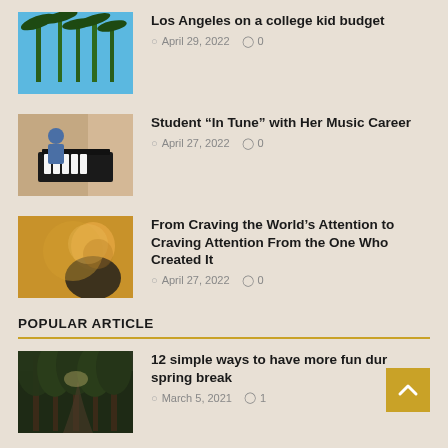[Figure (photo): Palm trees against blue sky]
Los Angeles on a college kid budget
April 29, 2022  0
[Figure (photo): Student playing piano]
Student “In Tune” with Her Music Career
April 27, 2022  0
[Figure (photo): Person with blurred background]
From Craving the World’s Attention to Craving Attention From the One Who Created It
April 27, 2022  0
POPULAR ARTICLE
[Figure (photo): Forest path through tall trees]
12 simple ways to have more fun dur spring break
March 5, 2021  1